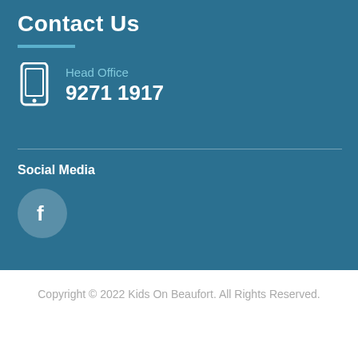Contact Us
Head Office
9271 1917
Social Media
[Figure (logo): Facebook logo icon in a circular button]
Copyright © 2022 Kids On Beaufort. All Rights Reserved.